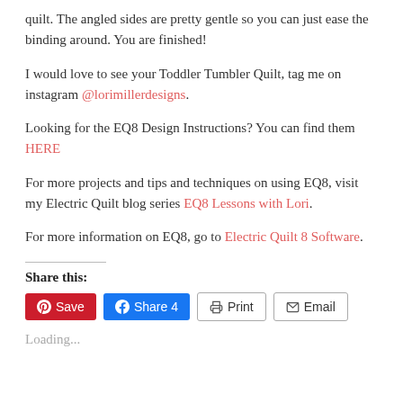quilt.  The angled sides are pretty gentle so you can just ease the binding around.  You are finished!
I would love to see your Toddler Tumbler Quilt, tag me on instagram @lorimillerdesigns.
Looking for the EQ8 Design Instructions?  You can find them HERE
For more projects and tips and techniques on using EQ8, visit my Electric Quilt blog series EQ8 Lessons with Lori.
For more information on EQ8, go to Electric Quilt 8 Software.
Share this:
Save  Share 4  Print  Email
Loading...